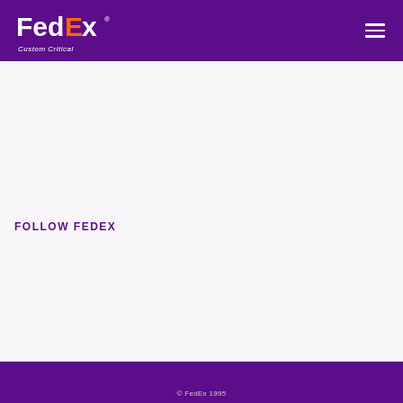FedEx Custom Critical
FOLLOW FEDEX
© FedEx 1995